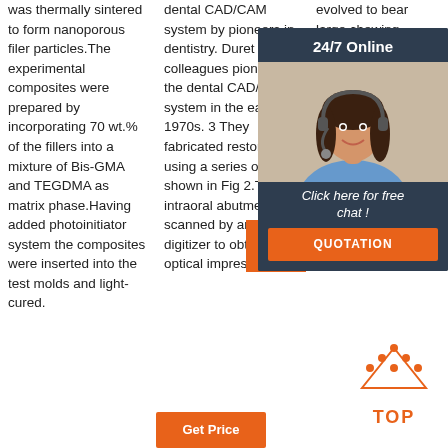was thermally sintered to form nanoporous filer particles.The experimental composites were prepared by incorporating 70 wt.% of the fillers into a mixture of Bis-GMA and TEGDMA as matrix phase.Having added photoinitiator system the composites were inserted into the test molds and light-cured.
dental CAD/CAM system by pioneers in dentistry. Duret and colleagues pioneered the dental CAD/CAM system in the early 1970s. 3 They fabricated restorations using a series of steps shown in Fig 2.The intraoral abutment is scanned by an intraoral digitizer to obtain an optical impression.
evolved to bear large chewing forces, resist mechanical fatigue and withstand over decades. Functional impairment loss of
[Figure (infographic): 24/7 Online chat widget with photo of woman wearing headset, 'Click here for free chat!' text, and QUOTATION button]
Get
[Figure (logo): Orange TOP arrow logo with dots arranged in triangle above text 'TOP']
Get Price